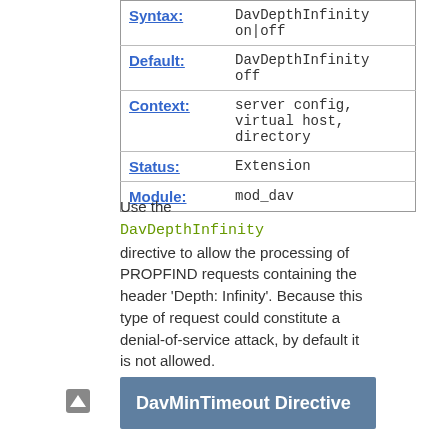| Field | Value |
| --- | --- |
| Syntax: | DavDepthInfinity on|off |
| Default: | DavDepthInfinity off |
| Context: | server config, virtual host, directory |
| Status: | Extension |
| Module: | mod_dav |
Use the DavDepthInfinity directive to allow the processing of PROPFIND requests containing the header 'Depth: Infinity'. Because this type of request could constitute a denial-of-service attack, by default it is not allowed.
DavMinTimeout Directive